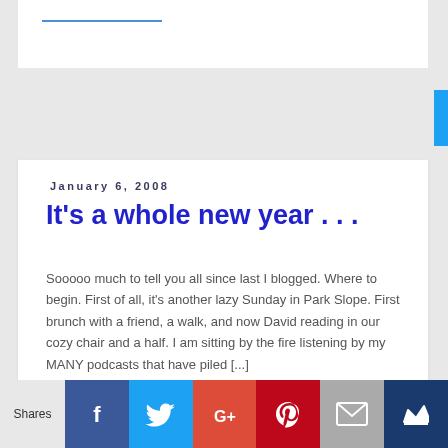January 6, 2008
It's a whole new year . . .
Sooooo much to tell you all since last I blogged. Where to begin. First of all, it's another lazy Sunday in Park Slope. First brunch with a friend, a walk, and now David reading in our cozy chair and a half. I am sitting by the fire listening by my MANY podcasts that have piled [...]
Read More ›